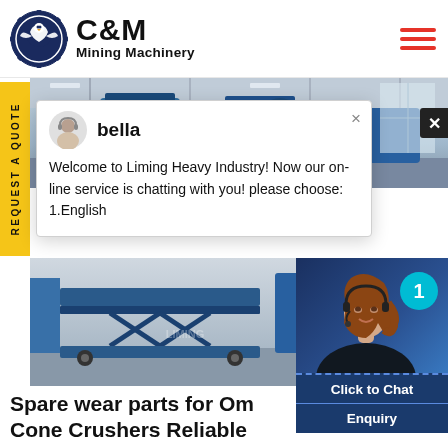[Figure (logo): C&M Mining Machinery logo with eagle/gear icon in dark navy blue circle, company name C&M in bold black, Mining Machinery below in bold black]
[Figure (photo): Factory interior with blue industrial machinery equipment]
REQUEST A QUOTE
[Figure (screenshot): Live chat popup with avatar of bella, message: Welcome to Liming Heavy Industry! Now our on-line service is chatting with you! please choose: 1.English]
[Figure (photo): Blue industrial scissor lift or platform machinery on factory floor]
[Figure (photo): Customer service woman wearing headset, smiling, with teal circle badge showing number 1]
Click to Chat
Enquiry
Spare wear parts for Om Cone Crushers Reliable